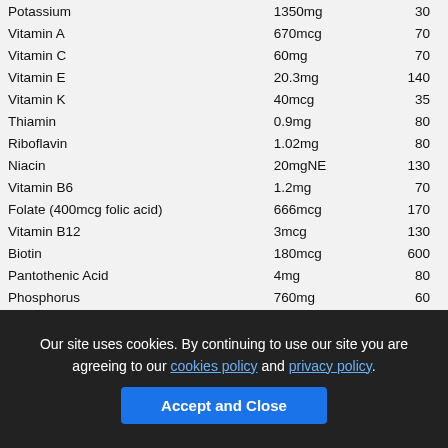| Nutrient | Amount | % |
| --- | --- | --- |
| Potassium | 1350mg | 30 |
| Vitamin A | 670mcg | 70 |
| Vitamin C | 60mg | 70 |
| Vitamin E | 20.3mg | 140 |
| Vitamin K | 40mcg | 35 |
| Thiamin | 0.9mg | 80 |
| Riboflavin | 1.02mg | 80 |
| Niacin | 20mgNE | 130 |
| Vitamin B6 | 1.2mg | 70 |
| Folate (400mcg folic acid) | 666mcg | 170 |
| Vitamin B12 | 3mcg | 130 |
| Biotin | 180mcg | 600 |
| Pantothenic Acid | 4mg | 80 |
| Phosphorus | 760mg | 60 |
| Iodine | 60mcg | 40 |
| Magnesium | 230mg | 50 |
| Zinc | 7mg | 60 |
| Selenium | 29.8mcg | 50 |
| Copper | 1mg | 110 |
| Manganese | 1mg | 45 |
Our site uses cookies. By continuing to use our site you are agreeing to our cookies policy and privacy policy. Accept and Close